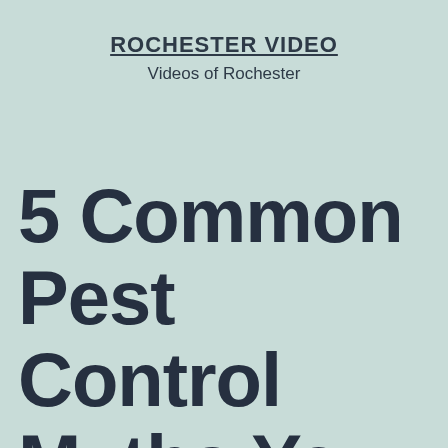ROCHESTER VIDEO
Videos of Rochester
5 Common Pest Control Myths You Shouldn't